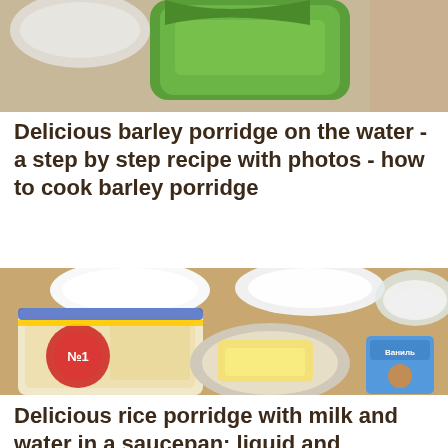[Figure (photo): Partial top view of food ingredients including a green bag of grains on a wooden surface]
Delicious barley porridge on the water - a step by step recipe with photos - how to cook barley porridge
[Figure (photo): Overhead view of rice porridge ingredients: a bag of rice, bowls of milk, sugar, butter on a plate, and a vanilla packet on a wooden surface]
Delicious rice porridge with milk and water in a saucepan: liquid and classical (thick) - a step by